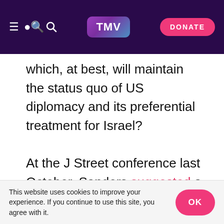TMV | DONATE
which, at best, will maintain the status quo of US diplomacy and its preferential treatment for Israel?

At the J Street conference last October, Sanders suggested a fragment of the $3.8 billion allocated to Israel annually for military aid “should go right now into humanitarian aid in Gaza.” J Street describes itself as an entity that “organises and mobilises pro-Israel, pro-peace Americans who want Israel to be secure, democratic and the national home of the Jewish people.” For this aim, Nakba narratives are, of course,
This website uses cookies to improve your experience. If you continue to use this site, you agree with it.